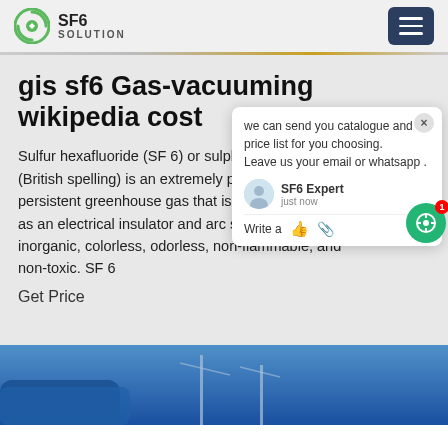SF6 SOLUTION
gis sf6 Gas-vacuuming wikipedia cost
Sulfur hexafluoride (SF 6) or sulphur hexafluoride (British spelling) is an extremely potent and persistent greenhouse gas that is primarily used as an electrical insulator and arc suppressant. It is inorganic, colorless, odorless, non-flammable, and non-toxic. SF 6
Get Price
[Figure (screenshot): Chat popup with SF6 Expert agent showing message about sending catalogue and price list, with avatar, thumbs up and paperclip icons]
[Figure (photo): Blue sky background with industrial electrical equipment/tower structure at bottom of page]